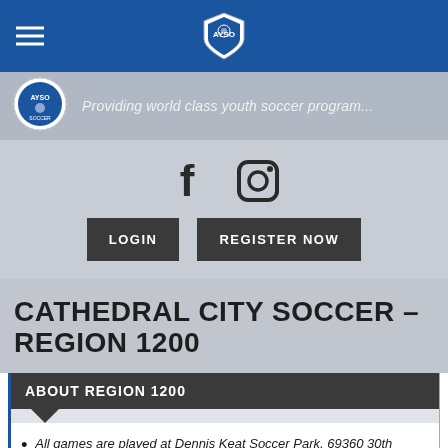[Figure (logo): AYSO shield/crest logo centered in blue navigation bar with hamburger menu on left]
[Figure (logo): AYSO circular logo on left of gray header banner]
Providing world class youth soccer program...
[Figure (infographic): Facebook and Instagram social media icons]
LOGIN
REGISTER NOW
CATHEDRAL CITY SOCCER - REGION 1200
ABOUT REGION 1200
All games are played at Dennis Keat Soccer Park, 69360 30th Avenue, Catherdral City, CA 92234